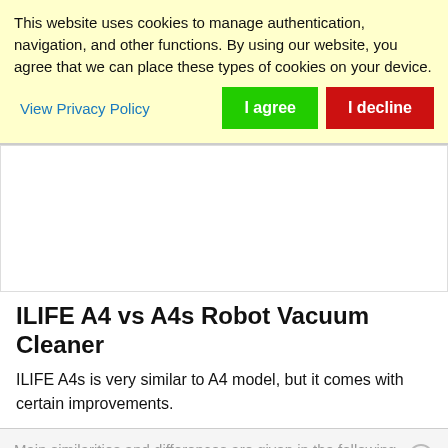This website uses cookies to manage authentication, navigation, and other functions. By using our website, you agree that we can place these types of cookies on your device.
View Privacy Policy
I agree
I decline
[Figure (other): Advertisement / blank white area]
ILIFE A4 vs A4s Robot Vacuum Cleaner
ILIFE A4s is very similar to A4 model, but it comes with certain improvements.
Main similarities and differences are given in the following table: